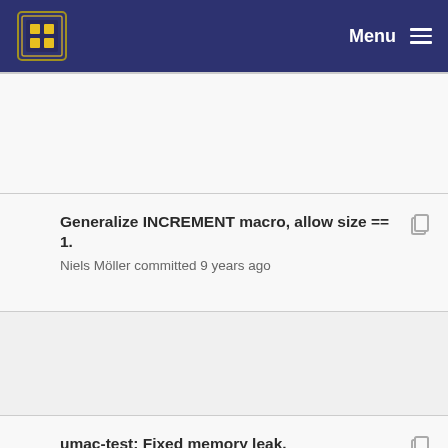Menu
Generalize INCREMENT macro, allow size == 1.
Niels Möller committed 9 years ago
umac-test: Fixed memory leak.
Niels Möller committed 9 years ago